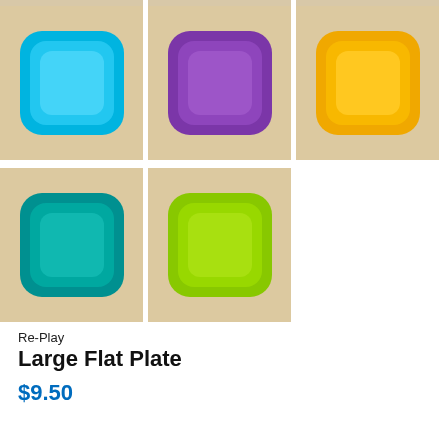[Figure (photo): Top row partial: three colored square plates on wood background (partially cut off at top)]
[Figure (photo): Middle row: three colored Re-Play large flat plates on wood background — blue, purple, yellow]
[Figure (photo): Bottom row: two colored Re-Play large flat plates on wood background — teal, lime green]
Re-Play
Large Flat Plate
$9.50